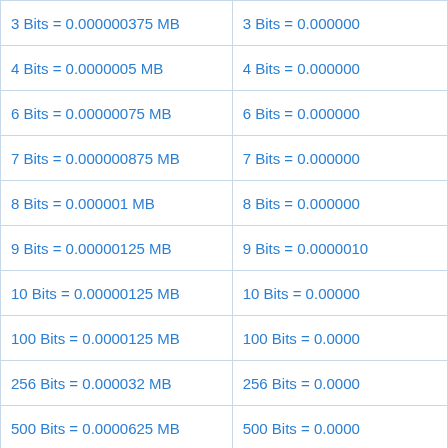| 3 Bits = 0.000000375 MB | 3 Bits = 0.000000 |
| 4 Bits = 0.0000005 MB | 4 Bits = 0.000000 |
| 6 Bits = 0.00000075 MB | 6 Bits = 0.000000 |
| 7 Bits = 0.000000875 MB | 7 Bits = 0.000000 |
| 8 Bits = 0.000001 MB | 8 Bits = 0.000000 |
| 9 Bits = 0.00000125 MB | 9 Bits = 0.000001 |
| 10 Bits = 0.0000125 MB | 10 Bits = 0.00000 |
| 100 Bits = 0.0000125 MB | 100 Bits = 0.0000 |
| 256 Bits = 0.000032 MB | 256 Bits = 0.0000 |
| 500 Bits = 0.0000625 MB | 500 Bits = 0.0000 |
| 512 Bits = 0.000064 MB | 512 Bits = 0.0000 |
| 1000 Bits = 0.000125 MB | 1000 Bits = 0.000 |
| 1024 Bits = 0.000128 MB | 1024 Bits = 0.000 |
| 2048 Bits = 0.000256 MB | 2048 Bits = 0.000 |
| 5000 Bits = 0.000625 MB | 5000 Bits = 0.000 |